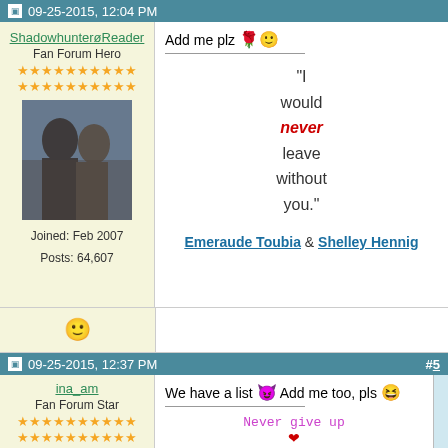09-25-2015, 12:04 PM
ShadowhunterøReader
Fan Forum Hero
Joined: Feb 2007
Posts: 64,607
Add me plz 🌹🙂
"I would never leave without you."
Emeraude Toubia & Shelley Hennig
😊
09-25-2015, 12:37 PM  #5
ina_am
Fan Forum Star
We have a list 😈 Add me too, pls 😆
Never give up
❤